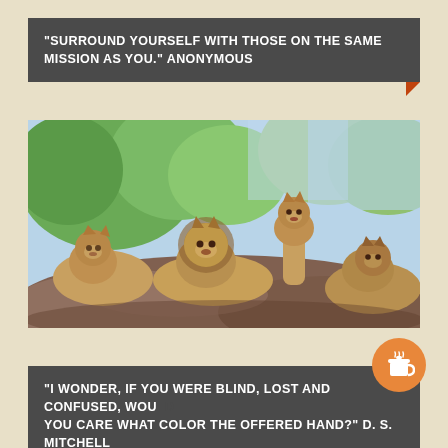“Surround yourself with those on the same mission as you.” Anonymous
[Figure (photo): Four lions resting and standing on large rocks outdoors, with green trees and blue sky in background.]
“I wonder, if you were blind, lost and confused, would you care what color the offered hand?” D. S. Mitchell